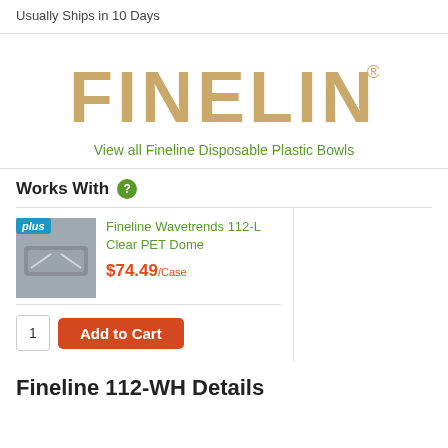Usually Ships in 10 Days
[Figure (logo): Fineline brand logo in tan/gold color]
View all Fineline Disposable Plastic Bowls
Works With
Fineline Wavetrends 112-L Clear PET Dome
$74.49/Case
Fineline 112-WH Details